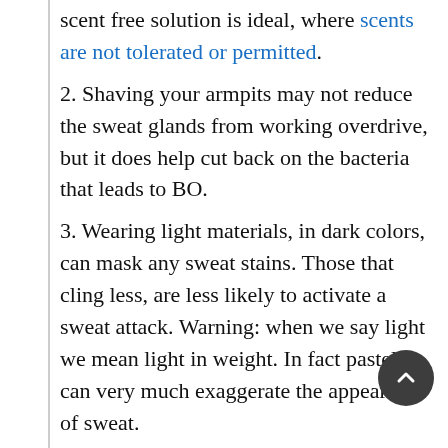scent free solution is ideal, where scents are not tolerated or permitted.
2. Shaving your armpits may not reduce the sweat glands from working overdrive, but it does help cut back on the bacteria that leads to BO.
3. Wearing light materials, in dark colors, can mask any sweat stains. Those that cling less, are less likely to activate a sweat attack. Warning: when we say light we mean light in weight. In fact pastels can very much exaggerate the appearance of sweat.
4. Pure cotton clothes retain smells more than